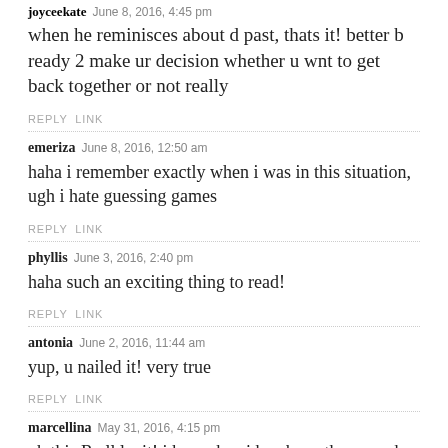joyceekate June 8, 2016, 4:45 pm
when he reminisces about d past, thats it! better b ready 2 make ur decision whether u wnt to get back together or not really
REPLY  LINK
emeriza June 8, 2016, 12:50 am
haha i remember exactly when i was in this situation, ugh i hate guessing games
REPLY  LINK
phyllis June 3, 2016, 2:40 pm
haha such an exciting thing to read!
REPLY  LINK
antonia June 2, 2016, 11:44 am
yup, u nailed it! very true
REPLY  LINK
marcellina May 31, 2016, 4:15 pm
oh this R all legit! i know bec i hav been the one who